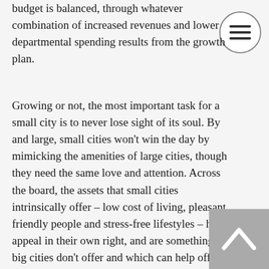budget is balanced, through whatever combination of increased revenues and lower departmental spending results from the growth plan.
Growing or not, the most important task for a small city is to never lose sight of its soul. By and large, small cities won't win the day by mimicking the amenities of large cities, though they need the same love and attention. Across the board, the assets that small cities intrinsically offer – low cost of living, pleasant, friendly people and stress-free lifestyles – have appeal in their own right, and are something the big cities don't offer and which can help offset the gap in resources. These, more than anything, are the tools for sustaining success. Given how many small cities there are, though,
[Figure (other): Hamburger menu button (three horizontal lines inside a circle) in the top right area]
[Figure (other): Back-to-top button (upward chevron arrow on grey square background) in the bottom right corner]